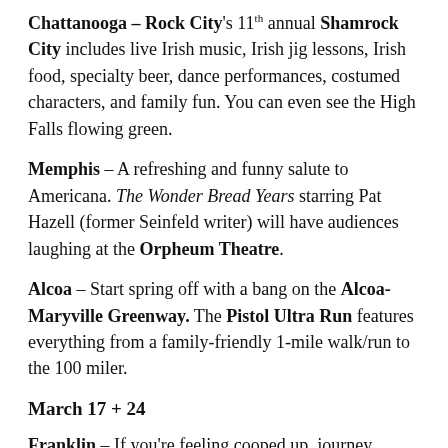Chattanooga – Rock City's 11th annual Shamrock City includes live Irish music, Irish jig lessons, Irish food, specialty beer, dance performances, costumed characters, and family fun. You can even see the High Falls flowing green.
Memphis – A refreshing and funny salute to Americana. The Wonder Bread Years starring Pat Hazell (former Seinfeld writer) will have audiences laughing at the Orpheum Theatre.
Alcoa – Start spring off with a bang on the Alcoa-Maryville Greenway. The Pistol Ultra Run features everything from a family-friendly 1-mile walk/run to the 100 miler.
March 17 + 24
Franklin – If you're feeling cooped up, journey outside with a Wildflower Hike 9:30 a.m. to